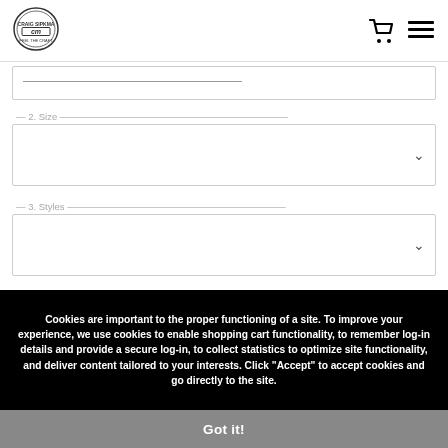[Figure (logo): Craig Sipkma CM oval logo in top left]
[Figure (other): Shopping cart icon and list/menu icon in top right header]
2. Size
3. Styles
Cookies are important to the proper functioning of a site. To improve your experience, we use cookies to enable shopping cart functionality, to remember log-in details and provide a secure log-in, to collect statistics to optimize site functionality, and deliver content tailored to your interests. Click "Accept" to accept cookies and go directly to the site.
Got it!